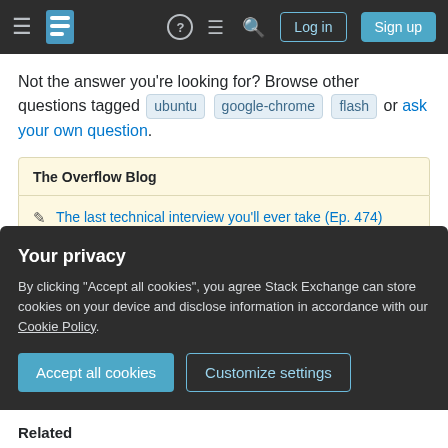Stack Exchange navigation bar with hamburger menu, logo, help, chat, search icons, Log in and Sign up buttons
Not the answer you're looking for? Browse other questions tagged ubuntu google-chrome flash or ask your own question.
The Overflow Blog
The last technical interview you'll ever take (Ep. 474)
Combining the best of engineering cultures from Silicon Valley and Shanghai...
Featured on Meta
Your privacy
By clicking "Accept all cookies", you agree Stack Exchange can store cookies on your device and disclose information in accordance with our Cookie Policy.
Accept all cookies   Customize settings
Related